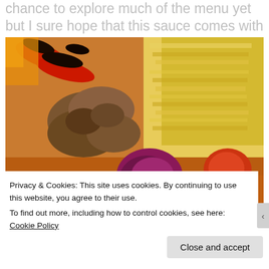chance to explore much of the menu yet but I sure hope that this sauce comes with more dishes!
[Figure (photo): Close-up photo of a Middle Eastern or Persian meal: grilled meat kebabs, yellow rice, roasted red peppers with char, purple/red onion, and tomatoes on a plate with red sauce.]
Privacy & Cookies: This site uses cookies. By continuing to use this website, you agree to their use.
To find out more, including how to control cookies, see here: Cookie Policy
Close and accept